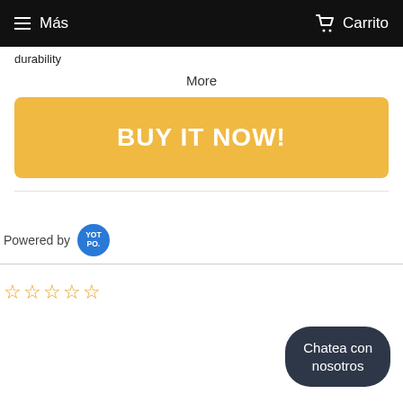Más   Carrito
durability
More
BUY IT NOW!
Powered by YOTPO.
[Figure (other): Five empty star icons for rating]
Chatea con nosotros